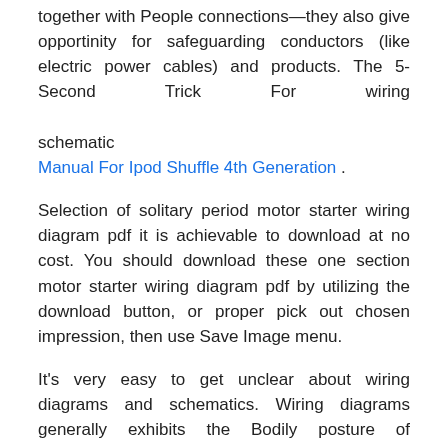together with People connections—they also give opportinity for safeguarding conductors (like electric power cables) and products. The 5-Second Trick For wiring schematic Manual For Ipod Shuffle 4th Generation .
Selection of solitary period motor starter wiring diagram pdf it is achievable to download at no cost. You should download these one section motor starter wiring diagram pdf by utilizing the download button, or proper pick out chosen impression, then use Save Image menu.
It's very easy to get unclear about wiring diagrams and schematics. Wiring diagrams generally exhibits the Bodily posture of components and connections in the designed circuit, and never necessarily in logic buy.
Rumored Buzz on wiring schematic